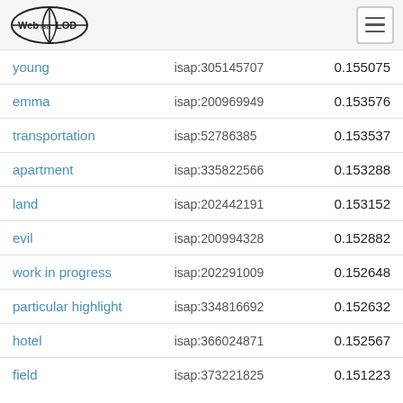Web isa LOD
| term | isap | score |
| --- | --- | --- |
| young | isap:305145707 | 0.155075 |
| emma | isap:200969949 | 0.153576 |
| transportation | isap:52786385 | 0.153537 |
| apartment | isap:335822566 | 0.153288 |
| land | isap:202442191 | 0.153152 |
| evil | isap:200994328 | 0.152882 |
| work in progress | isap:202291009 | 0.152648 |
| particular highlight | isap:334816692 | 0.152632 |
| hotel | isap:366024871 | 0.152567 |
| field | isap:373221825 | 0.151223 |